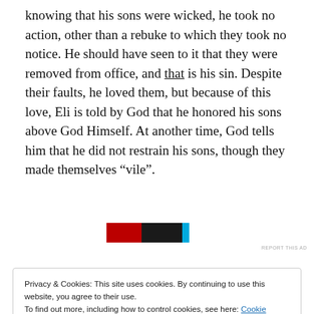knowing that his sons were wicked, he took no action, other than a rebuke to which they took no notice. He should have seen to it that they were removed from office, and that is his sin. Despite their faults, he loved them, but because of this love, Eli is told by God that he honored his sons above God Himself. At another time, God tells him that he did not restrain his sons, though they made themselves “vile”.
[Figure (other): Small advertisement banner image with dark and cyan colors]
REPORT THIS AD
Privacy & Cookies: This site uses cookies. By continuing to use this website, you agree to their use.
To find out more, including how to control cookies, see here: Cookie Policy